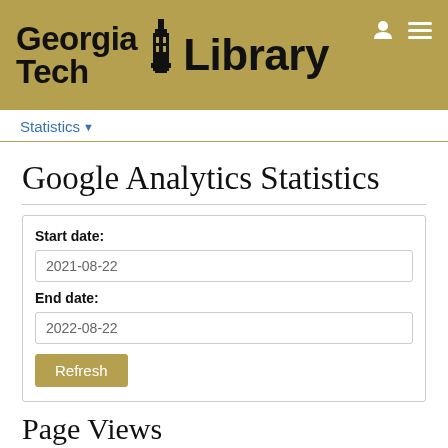Georgia Tech Library
Statistics
Google Analytics Statistics
Start date: 2021-08-22
End date: 2022-08-22
Refresh
Page Views